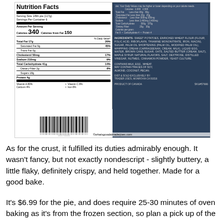[Figure (photo): Nutrition facts label from a Trader Joe's sweet potato pie, showing serving size 1/8th pie (117g), servings per container 6, Calories 340, Calories from Fat 150, Total Fat 17g 26%, Saturated Fat 9g 45%, Trans Fat 0g, Cholesterol 50mg 17%, Sodium 210mg 9%, Total Carbohydrate 41g 14%, Dietary Fiber 2g 8%, Sugars 18g, Protein 4g, Vitamin A 80%, Vitamin C 8%, Calcium 4%, Iron 8%. Ingredients list and barcode visible. Copyright whatsgoodattraderjoes.com]
As for the crust, it fulfilled its duties admirably enough. It wasn't fancy, but not exactly nondescript - slightly buttery, a little flaky, definitely crispy, and held together. Made for a good bake.
It's $6.99 for the pie, and does require 25-30 minutes of oven baking as it's from the frozen section, so plan a pick up of the